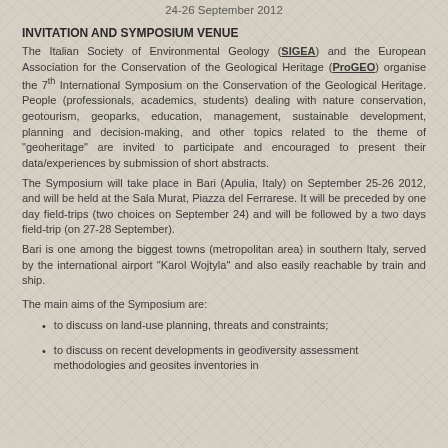24-26 September 2012
INVITATION AND SYMPOSIUM VENUE
The Italian Society of Environmental Geology (SIGEA) and the European Association for the Conservation of the Geological Heritage (ProGEO) organise the 7th International Symposium on the Conservation of the Geological Heritage. People (professionals, academics, students) dealing with nature conservation, geotourism, geoparks, education, management, sustainable development, planning and decision-making, and other topics related to the theme of "geoheritage" are invited to participate and encouraged to present their data/experiences by submission of short abstracts.
The Symposium will take place in Bari (Apulia, Italy) on September 25-26 2012, and will be held at the Sala Murat, Piazza del Ferrarese. It will be preceded by one day field-trips (two choices on September 24) and will be followed by a two days field-trip (on 27-28 September).
Bari is one among the biggest towns (metropolitan area) in southern Italy, served by the international airport "Karol Wojtyla" and also easily reachable by train and ship.
The main aims of the Symposium are:
to discuss on land-use planning, threats and constraints;
to discuss on recent developments in geodiversity assessment methodologies and geosites inventories in